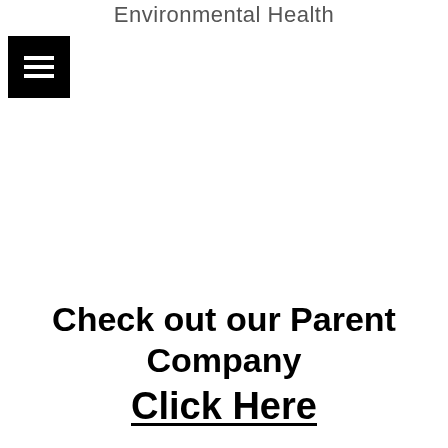Environmental Health
[Figure (other): Black square button with hamburger menu icon (three horizontal white lines)]
Check out our Parent Company
Click Here